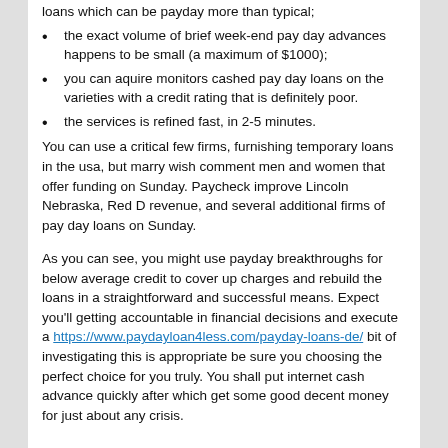loans which can be payday more than typical;
the exact volume of brief week-end pay day advances happens to be small (a maximum of $1000);
you can aquire monitors cashed pay day loans on the varieties with a credit rating that is definitely poor.
the services is refined fast, in 2-5 minutes.
You can use a critical few firms, furnishing temporary loans in the usa, but marry wish comment men and women that offer funding on Sunday. Paycheck improve Lincoln Nebraska, Red D revenue, and several additional firms of pay day loans on Sunday.
As you can see, you might use payday breakthroughs for below average credit to cover up charges and rebuild the loans in a straightforward and successful means. Expect you'll getting accountable in financial decisions and execute a https://www.paydayloan4less.com/payday-loans-de/ bit of investigating this is appropriate be sure you choosing the perfect choice for you truly. You shall put internet cash advance quickly after which get some good decent money for just about any crisis.